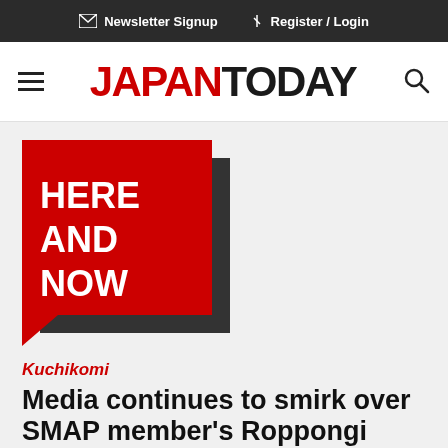Newsletter Signup   Register / Login
JAPAN TODAY
[Figure (illustration): Red square speech-bubble graphic with white bold text reading HERE AND NOW, with a dark grey shadow/offset square behind it]
Kuchikomi
Media continues to smirk over SMAP member's Roppongi incident